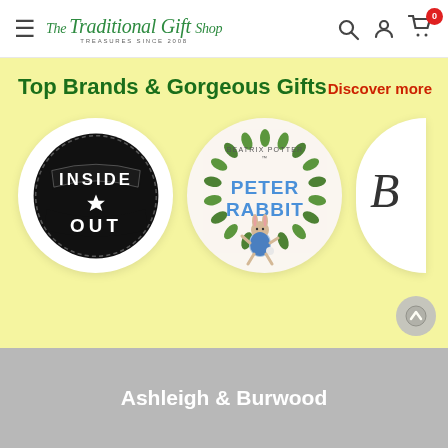The Traditional Gift Shop — navigation bar with hamburger menu, search, account, and cart (0 items)
Top Brands & Gorgeous Gifts
Discover more
[Figure (logo): Inside Out round badge logo — black circular badge with banner ribbon text reading INSIDE OUT and a star]
[Figure (logo): Beatrix Potter Peter Rabbit logo — circular white background with green wreath border and Peter Rabbit illustration]
[Figure (logo): Partial view of a cursive brand logo (partially cropped, starts with 'B')]
Ashleigh & Burwood